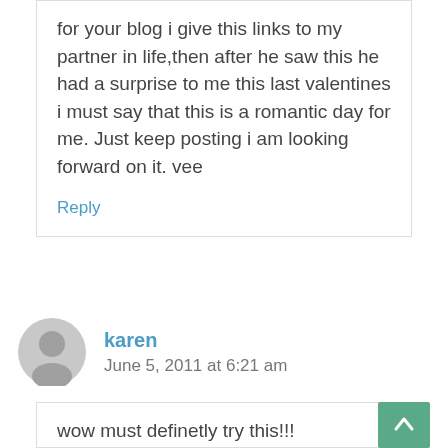for your blog i give this links to my partner in life,then after he saw this he had a surprise to me this last valentines i must say that this is a romantic day for me. Just keep posting i am looking forward on it. vee
Reply
karen
June 5, 2011 at 6:21 am
wow must definetly try this!!!